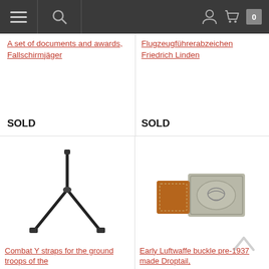Navigation bar with menu, search, account, cart (0)
A set of documents and awards, Fallschirmjäger
SOLD
Flugzeugführerabzeichen Friedrich Linden
SOLD
[Figure (photo): Combat Y straps for the ground troops — black leather Y-strap harness on white background]
Combat Y straps for the ground troops of the
[Figure (photo): Early Luftwaffe buckle pre-1937 made Droptail — tan leather belt with aluminium buckle showing eagle emblem]
Early Luftwaffe buckle pre-1937 made Droptail,